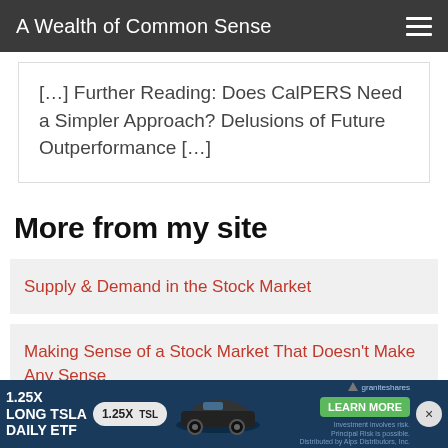A Wealth of Common Sense
[…] Further Reading: Does CalPERS Need a Simpler Approach? Delusions of Future Outperformance […]
More from my site
Supply & Demand in the Stock Market
Making Sense of a Stock Market That Doesn't Make Any Sense
Consu…
[Figure (infographic): Advertisement banner: 1.25X LONG TSLA DAILY ETF | 1.25X TSL badge | Tesla car image | GraniteShares LEARN MORE button | close button]